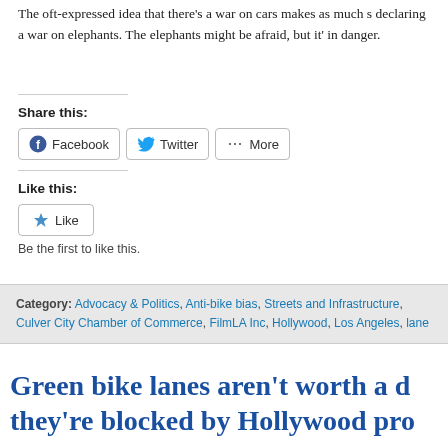The oft-expressed idea that there's a war on cars makes as much sense as declaring a war on elephants. The elephants might be afraid, but it's not in danger.
Share this:
[Figure (screenshot): Share buttons for Facebook, Twitter, and More]
Like this:
[Figure (screenshot): Like button widget]
Be the first to like this.
Category: Advocacy & Politics, Anti-bike bias, Streets and Infrastructure, Culver City Chamber of Commerce, FilmLA Inc, Hollywood, Los Angeles, lane
Green bike lanes aren't worth a d... they're blocked by Hollywood pro...